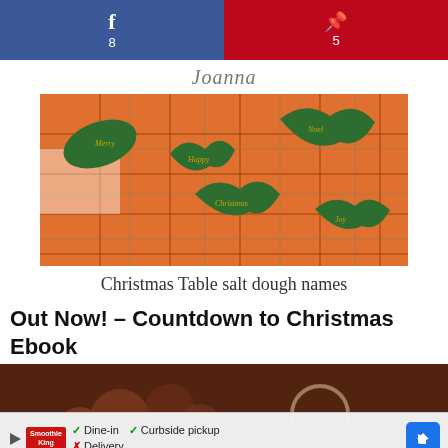[Figure (other): Social share bar with Facebook (f, 8) in blue and Pinterest (P, 5) in red]
[Figure (logo): Cursive/italic script logo text 'Joanna']
[Figure (photo): Photo of green holly-shaped salt dough name cards on an orange plaid tablecloth]
Christmas Table salt dough names
Out Now! – Countdown to Christmas Ebook
[Figure (photo): Dark moody photo showing cookies or baked goods with a magnifying glass or metal utensil]
[Figure (other): Advertisement overlay for Smoothie King showing Dine-in, Curbside pickup checkmarks and Delivery with X, plus navigation arrow]